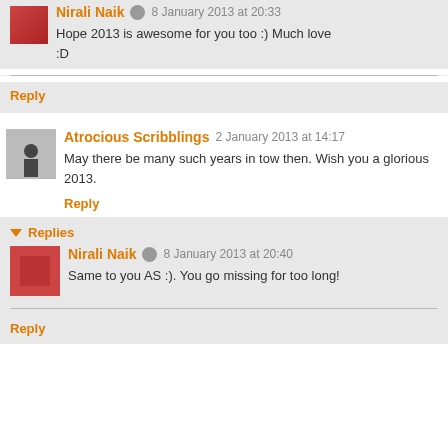Nirali Naik  8 January 2013 at 20:33
Hope 2013 is awesome for you too :) Much love :D
Reply
Atrocious Scribblings  2 January 2013 at 14:17
May there be many such years in tow then. Wish you a glorious 2013.
Reply
Replies
Nirali Naik  8 January 2013 at 20:40
Same to you AS :). You go missing for too long!
Reply